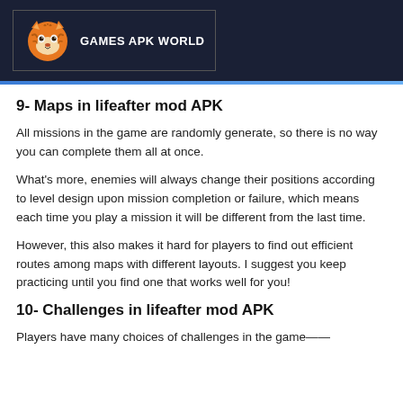GAMES APK WORLD
9- Maps in lifeafter mod APK
All missions in the game are randomly generate, so there is no way you can complete them all at once.
What's more, enemies will always change their positions according to level design upon mission completion or failure, which means each time you play a mission it will be different from the last time.
However, this also makes it hard for players to find out efficient routes among maps with different layouts. I suggest you keep practicing until you find one that works well for you!
10- Challenges in lifeafter mod APK
Players have many choices of challenges in the game——